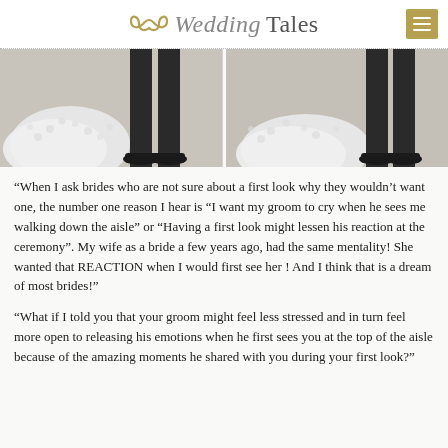WeddingTales
[Figure (photo): Two side-by-side wedding photos showing the lower halves of a bride and groom standing together — white lacy wedding dress and black suit trousers/shoes visible on a concrete surface.]
“When I ask brides who are not sure about a first look why they wouldn’t want one, the number one reason I hear is “I want my groom to cry when he sees me walking down the aisle” or “Having a first look might lessen his reaction at the ceremony”. My wife as a bride a few years ago, had the same mentality! She wanted that REACTION when I would first see her ! And I think that is a dream of most brides!”
“What if I told you that your groom might feel less stressed and in turn feel more open to releasing his emotions when he first sees you at the top of the aisle because of the amazing moments he shared with you during your first look?”